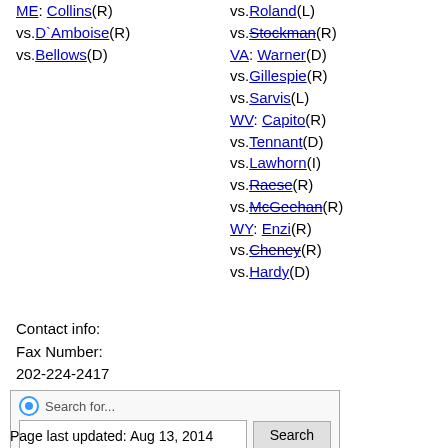ME: Collins(R) vs.D`Amboise(R) vs.Bellows(D)
vs.Roland(L) vs.Stockman(R) VA: Warner(D) vs.Gillespie(R) vs.Sarvis(L) WV: Capito(R) vs.Tennant(D) vs.Lawhorn(I) vs.Raese(R) vs.McGeehan(R) WY: Enzi(R) vs.Cheney(R) vs.Hardy(D)
Contact info:
Fax Number:
202-224-2417
Search for...
Page last updated: Aug 13, 2014